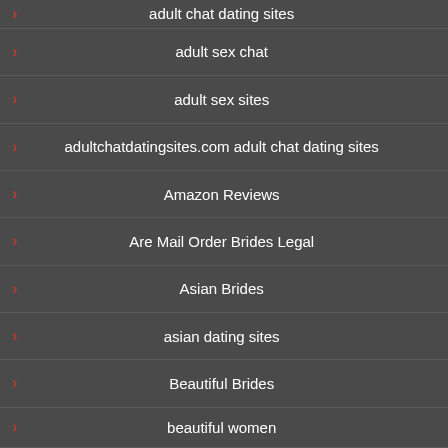adult chat dating sites
adult sex chat
adult sex sites
adultchatdatingsites.com adult chat dating sites
Amazon Reviews
Are Mail Order Brides Legal
Asian Brides
asian dating sites
Beautiful Brides
beautiful women